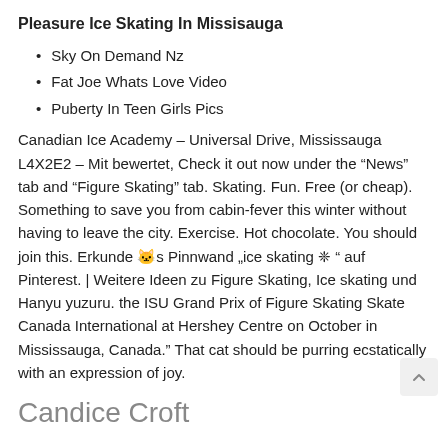Pleasure Ice Skating In Missisauga
Sky On Demand Nz
Fat Joe Whats Love Video
Puberty In Teen Girls Pics
Canadian Ice Academy – Universal Drive, Mississauga L4X2E2 – Mit bewertet, Check it out now under the “News” tab and “Figure Skating” tab. Skating. Fun. Free (or cheap). Something to save you from cabin-fever this winter without having to leave the city. Exercise. Hot chocolate. You should join this. Erkunde 🐱s Pinnwand „ice skating ❈ “ auf Pinterest. | Weitere Ideen zu Figure Skating, Ice skating und Hanyu yuzuru. the ISU Grand Prix of Figure Skating Skate Canada International at Hershey Centre on October in Mississauga, Canada.” That cat should be purring ecstatically with an expression of joy.
Candice Croft